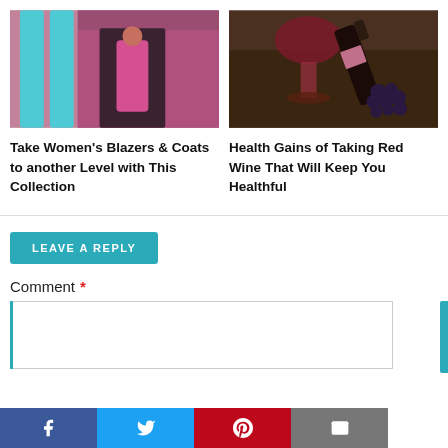[Figure (photo): Woman in pink/magenta suit standing in doorway with blue columns]
[Figure (photo): Red wine glass and bottle with grapes on dark wooden background]
Take Women's Blazers & Coats to another Level with This Collection
Health Gains of Taking Red Wine That Will Keep You Healthful
LEAVE A REPLY
Comment *
[Figure (screenshot): Social share bar with Facebook, Twitter, Pinterest, and Email buttons]